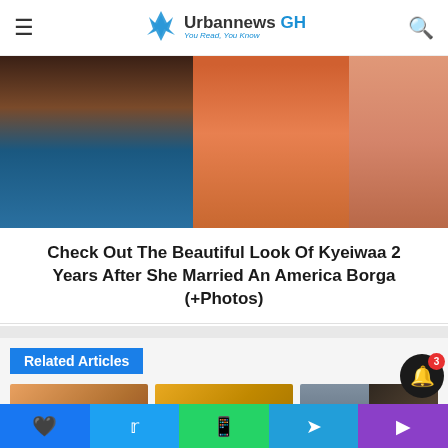Urbannews GH — You Read, You Know
[Figure (photo): Hero image showing women at an event, cropped close]
Check Out The Beautiful Look Of Kyeiwaa 2 Years After She Married An America Borga (+Photos)
Related Articles
[Figure (photo): Related article thumbnail 1: man in patterned shirt]
[Figure (photo): Related article thumbnail 2: orange book/poster cover for Treasurer]
[Figure (photo): Related article thumbnail 3: man in suit and Furthermore album art]
Facebook | Twitter | WhatsApp | Telegram | Purple social share bar